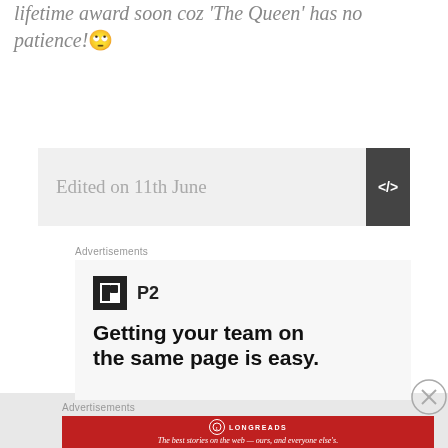lifetime award soon coz ‘The Queen’ has no patience!😕
Edited on 11th June
Advertisements
[Figure (other): P2 advertisement: logo with black square containing white H icon, 'P2' label, headline text 'Getting your team on the same page is easy.']
Advertisements
[Figure (other): Longreads advertisement: red banner with Longreads logo and tagline 'The best stories on the web — ours, and everyone else’s.']